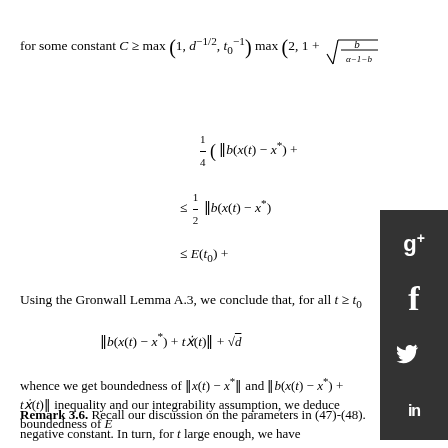Using the Gronwall Lemma A.3, we conclude that, for all t ≥ t₀
whence we get boundedness of ‖x(t) − x*‖ and ‖b(x(t) − x*) + tẋ(t)‖ inequality and our integrability assumption, we deduce boundedness of E…
Remark 3.6. Recall our discussion on the parameters in (47)-(48). negative constant. In turn, for t large enough, we have
Clearly the condition m(·)e(·) ∈ L¹(t₀, +∞; H) is equivalent to t²e(t) ∈ L¹…